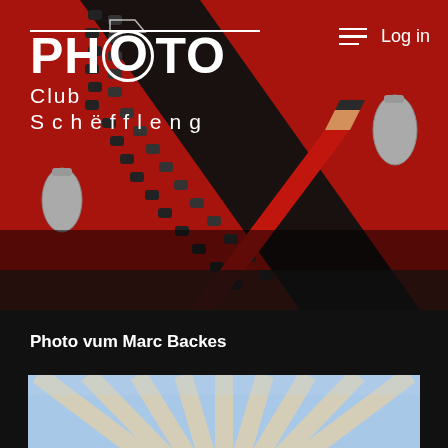[Figure (photo): Close-up macro photo of a red zipper bag with a red pencil inserted between the zipper teeth, with silver zipper pulls visible. The Photo Club Schëffleng logo and navigation overlay the top portion.]
Photo vum Marc Backes
[Figure (photo): Close-up architectural photo of radiating white/beige structural fins or blades against a blue sky.]